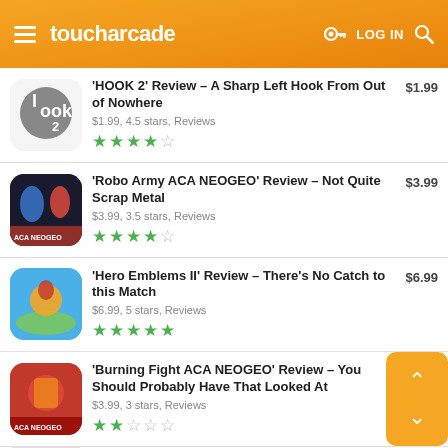toucharcade — LOG IN
'HOOK 2' Review – A Sharp Left Hook From Out of Nowhere | $1.99, 4.5 stars, Reviews | $1.99
'Robo Army ACA NEOGEO' Review – Not Quite Scrap Metal | $3.99, 3.5 stars, Reviews | $3.99
'Hero Emblems II' Review – There's No Catch to this Match | $6.99, 5 stars, Reviews | $6.99
'Burning Fight ACA NEOGEO' Review – You Should Probably Have That Looked At | $3.99, 3 stars, Reviews | $3.99
'Ace Attorney Trilogy 2022 Review – ...